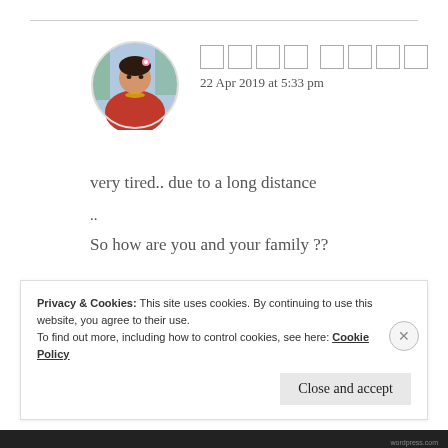[Figure (photo): Circular avatar photo of a woman in traditional Indian attire (red dress, jewelry, floral hair decoration) against a blurred outdoor background.]
[redacted name] — 22 Apr 2019 at 5:33 pm
very tired.. due to a long distance

..

So how are you and your family ??
★ Like
Privacy & Cookies: This site uses cookies. By continuing to use this website, you agree to their use.
To find out more, including how to control cookies, see here: Cookie Policy
Close and accept